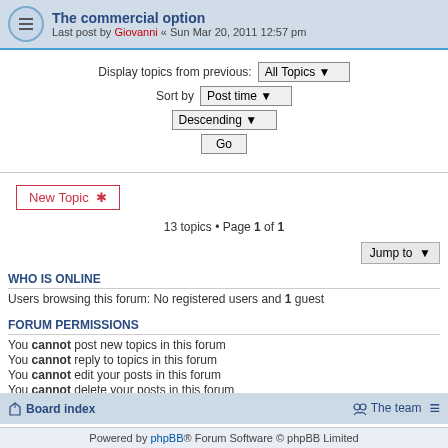The commercial option — Last post by Giovanni « Sun Mar 20, 2011 12:57 pm
Display topics from previous: All Topics ▼
Sort by Post time ▼
Descending ▼
Go
New Topic ✱
13 topics • Page 1 of 1
Jump to
WHO IS ONLINE
Users browsing this forum: No registered users and 1 guest
FORUM PERMISSIONS
You cannot post new topics in this forum
You cannot reply to topics in this forum
You cannot edit your posts in this forum
You cannot delete your posts in this forum
You cannot post attachments in this forum
Board index   The team   ≡
Powered by phpBB® Forum Software © phpBB Limited